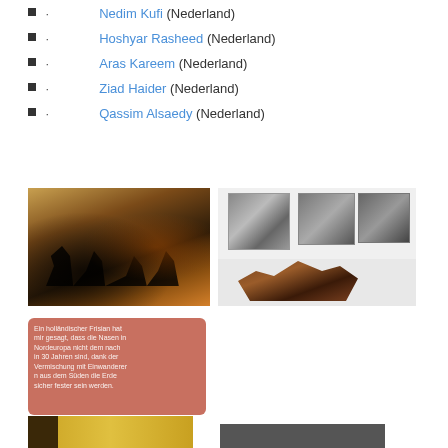· Nedim Kufi (Nederland)
· Hoshyar Rasheed (Nederland)
· Aras Kareem (Nederland)
· Ziad Haider (Nederland)
· Qassim Alsaedy (Nederland)
[Figure (photo): Dark silhouette artwork with amber/orange tones showing figures]
[Figure (photo): Gallery installation with wall-mounted artworks and a sculptural piece on floor]
[Figure (photo): Pink/red card with white German handwritten text about Nordeuropa]
[Figure (photo): Golden/yellow book or panel with dark figure element]
[Figure (photo): Dark colored artwork or photograph partially visible]